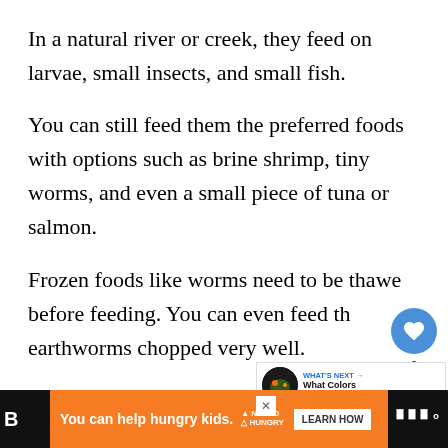In a natural river or creek, they feed on larvae, small insects, and small fish.
You can still feed them the preferred foods with options such as brine shrimp, tiny worms, and even a small piece of tuna or salmon.
Frozen foods like worms need to be thawed before feeding. You can even feed them earthworms chopped very well.
[Figure (screenshot): Web UI overlay with heart/like button showing count of 1, share button, and 'What's Next' thumbnail link to 'What Colors Frogs Are']
[Figure (screenshot): Advertisement bar: orange banner with 'You can help hungry kids.' No Kid Hungry logo and LEARN HOW button, on black background]